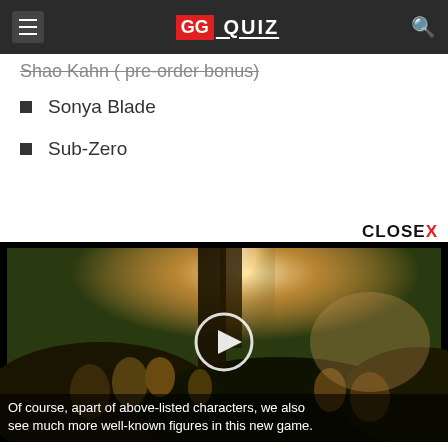GG QUIZ
Shao Kahn (pre-order bonus)
Sonya Blade
Sub-Zero
[Figure (screenshot): Video player thumbnail showing a dark outdoor scene with vegetation and a bright light source, with a circular play button overlay. A 'CLOSE X' button appears above the player.]
Of course, apart of above-listed characters, we also see much more well-known figures in this new game.